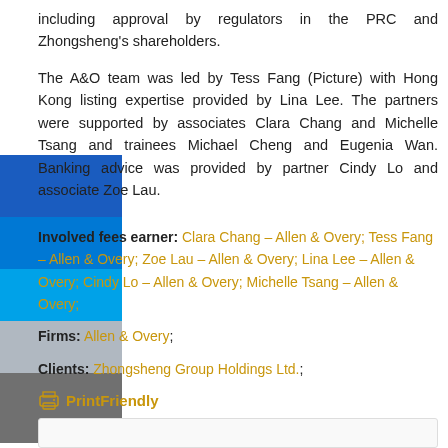including approval by regulators in the PRC and Zhongsheng's shareholders.
The A&O team was led by Tess Fang (Picture) with Hong Kong listing expertise provided by Lina Lee. The partners were supported by associates Clara Chang and Michelle Tsang and trainees Michael Cheng and Eugenia Wan. Banking advice was provided by partner Cindy Lo and associate Zoe Lau.
Involved fees earner: Clara Chang – Allen & Overy; Tess Fang – Allen & Overy; Zoe Lau – Allen & Overy; Lina Lee – Allen & Overy; Cindy Lo – Allen & Overy; Michelle Tsang – Allen & Overy;
Firms: Allen & Overy;
Clients: Zhongsheng Group Holdings Ltd.;
PrintFriendly